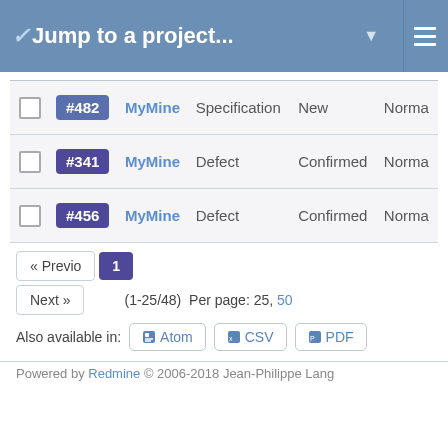Jump to a project...
|  | # | Project | Type | Status | Priority |
| --- | --- | --- | --- | --- | --- |
|  | #482 | MyMine | Specification | New | Norma |
|  | #341 | MyMine | Defect | Confirmed | Norma |
|  | #456 | MyMine | Defect | Confirmed | Norma |
« Previo  1  Next »   (1-25/48)  Per page: 25, 50
Also available in: Atom  CSV  PDF
Powered by Redmine © 2006-2018 Jean-Philippe Lang